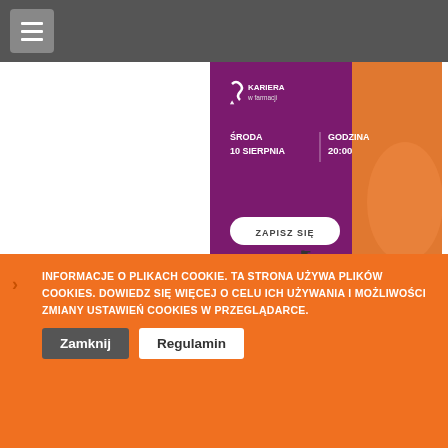Navigation bar with hamburger menu
[Figure (infographic): Event banner for 'Kariera w farmacji' webinar. Purple background with orange photo of person (mgr farm. Justyna Uman-Ntuk). Shows: ŚRODA 10 SIERPNIA | GODZINA 20:00. ZAPISZ SIĘ button. PROWADZĄCA: mgr farm. Justyna Uman-Ntuk.]
farmaceutycznej? Zastanawiasz się co zrobić, aby Twoje CV zostało wybrane spośród masy innych? Nie wiesz, jak prowadzić profesjonalnie swoje konto na LinkedIn? Zapraszamy Cię na bezpłatny…
Czytaj dalej...
INFORMACJE O PLIKACH COOKIE. TA STRONA UŻYWA PLIKÓW COOKIES. DOWIEDZ SIĘ WIĘCEJ O CELU ICH UŻYWANIA I MOŻLIWOŚCI ZMIANY USTAWIEŃ COOKIES W PRZEGLĄDARCE.
Zamknij
Regulamin